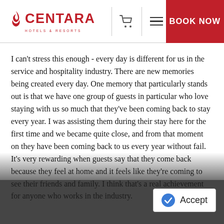[Figure (logo): Centara Hotels & Resorts logo in red with flame icon]
I can't stress this enough - every day is different for us in the service and hospitality industry. There are new memories being created every day. One memory that particularly stands out is that we have one group of guests in particular who love staying with us so much that they've been coming back to stay every year. I was assisting them during their stay here for the first time and we became quite close, and from that moment on they have been coming back to us every year without fail. It's very rewarding when guests say that they come back because they feel at home and it feels like they're coming to see their friends and family. I think that's a real achievement for anyone who works in the industry.